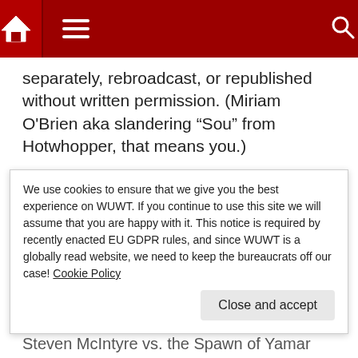Navigation bar with home icon, menu icon, and search icon
separately, rebroadcast, or republished without written permission. (Miriam O'Brien aka slandering “Sou” from Hotwhopper, that means you.)
For permission, contact us. See the About>Contact menu under the header.
All rights reserved worldwide.
Some material from contributors may contain additional copyrights of their respective company or organization.
We use cookies to ensure that we give you the best experience on WUWT. If you continue to use this site we will assume that you are happy with it. This notice is required by recently enacted EU GDPR rules, and since WUWT is a globally read website, we need to keep the bureaucrats off our case! Cookie Policy
Steven McIntyre vs. the Spawn of Yamar